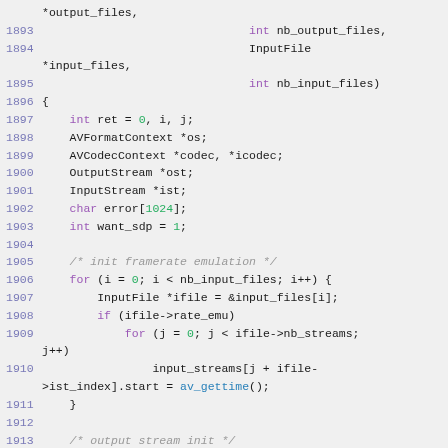Source code listing, lines 1893-1913, C code showing function parameters and body with frame rate emulation initialization loop